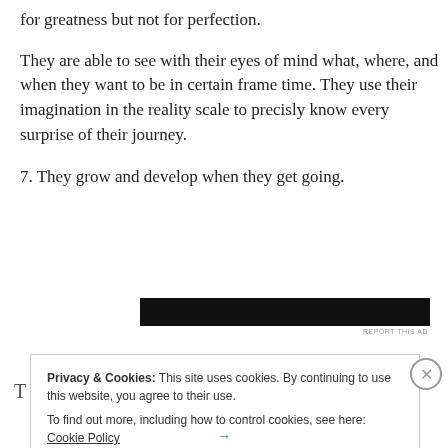for greatness but not for perfection.
They are able to see with their eyes of mind what, where, and when they want to be in certain frame time. They use their imagination in the reality scale to precisly know every surprise of their journey.
7. They grow and develop when they get going.
[Figure (other): Black advertisement banner]
REPORT THIS AD
Privacy & Cookies: This site uses cookies. By continuing to use this website, you agree to their use.
To find out more, including how to control cookies, see here: Cookie Policy
Close and accept